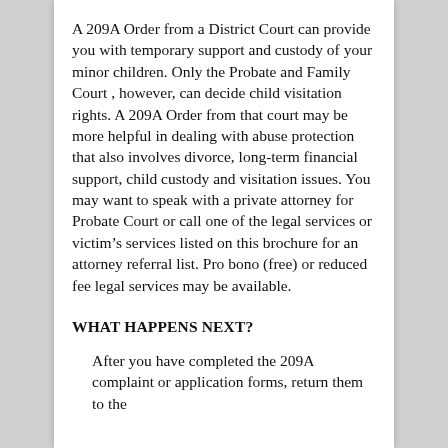A 209A Order from a District Court can provide you with temporary support and custody of your minor children. Only the Probate and Family Court , however, can decide child visitation rights. A 209A Order from that court may be more helpful in dealing with abuse protection that also involves divorce, long-term financial support, child custody and visitation issues. You may want to speak with a private attorney for Probate Court or call one of the legal services or victim's services listed on this brochure for an attorney referral list. Pro bono (free) or reduced fee legal services may be available.
WHAT HAPPENS NEXT?
After you have completed the 209A complaint or application forms, return them to the